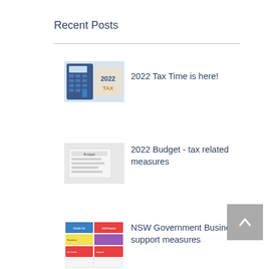Recent Posts
[Figure (photo): Thumbnail image showing a calculator with '2022 TAX' text in gold letters]
2022 Tax Time is here!
[Figure (photo): Thumbnail image of tax/budget document papers]
2022 Budget - tax related measures
[Figure (photo): Thumbnail image of NSW Government business support table/chart with colored cells]
NSW Government Business support measures